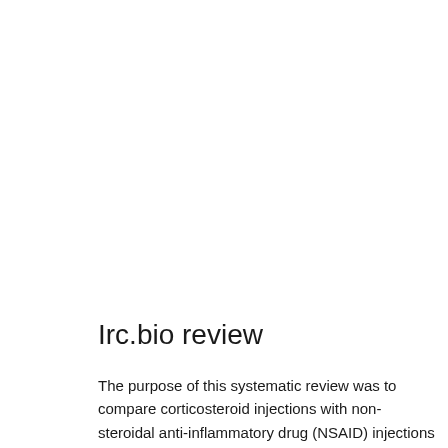Irc.bio review
The purpose of this systematic review was to compare corticosteroid injections with non-steroidal anti-inflammatory drug (NSAID) injections for musculoskeletal